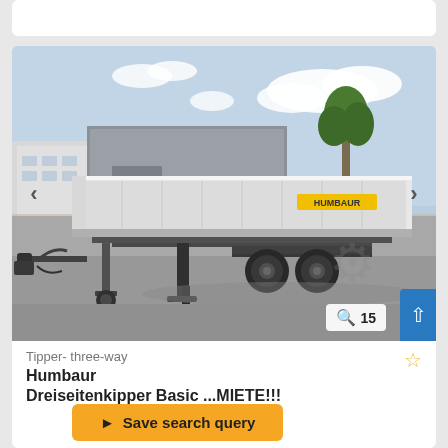[Figure (photo): White Humbaur Dreiseitenkipper (three-way tipper trailer) parked in a commercial/industrial area parking lot. The trailer has dual axles and an open flatbed with side boards. Sky with clouds visible in the background.]
Tipper- three-way
Humbaur Dreiseitenkipper Basic ...MIETE!!!
Save search query